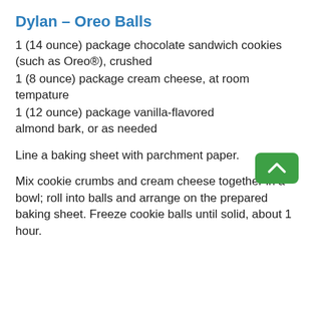Dylan – Oreo Balls
1 (14 ounce) package chocolate sandwich cookies (such as Oreo®), crushed
1 (8 ounce) package cream cheese, at room tempature
1 (12 ounce) package vanilla-flavored almond bark, or as needed
Line a baking sheet with parchment paper.
Mix cookie crumbs and cream cheese together in a bowl; roll into balls and arrange on the prepared baking sheet. Freeze cookie balls until solid, about 1 hour.